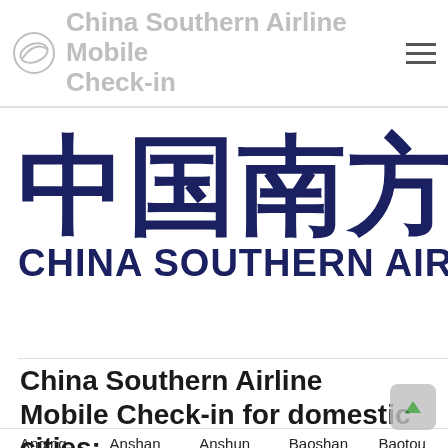China Southern Airline Mobile Check-in
[Figure (logo): China Southern Airlines logo and branding — Chinese characters '中国南方航空' and English text 'CHINA SOUTHERN AIRLINES' in dark navy blue]
China Southern Airline Mobile Check-in for domestic cities:
Anqing
Anshan
Anshun
Baoshan
Baotou